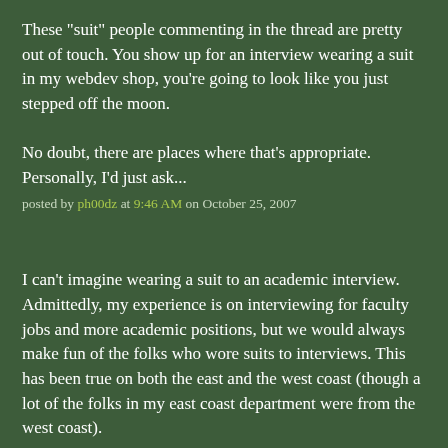These "suit" people commenting in the thread are pretty out of touch. You show up for an interview wearing a suit in my webdev shop, you're going to look like you just stepped off the moon.

No doubt, there are places where that's appropriate. Personally, I'd just ask...
posted by ph00dz at 9:46 AM on October 25, 2007
I can't imagine wearing a suit to an academic interview. Admittedly, my experience is on interviewing for faculty jobs and more academic positions, but we would always make fun of the folks who wore suits to interviews. This has been true on both the east and the west coast (though a lot of the folks in my east coast department were from the west coast).
posted by pombe at 9:53 AM on October 25, 2007